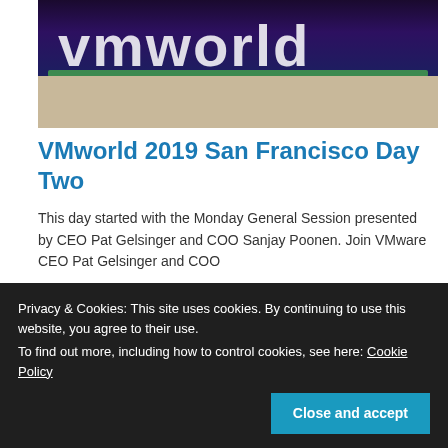[Figure (photo): Photo of a VMworld event sign with large white illuminated 'vmworld' text on a dark purple/navy background, with green lighting strip and wooden floor visible]
VMworld 2019 San Francisco Day Two
This day started with the Monday General Session presented by CEO Pat Gelsinger and COO Sanjay Poonen. Join VMware CEO Pat Gelsinger and COO
Privacy & Cookies: This site uses cookies. By continuing to use this website, you agree to their use.
To find out more, including how to control cookies, see here: Cookie Policy
[Close and accept]